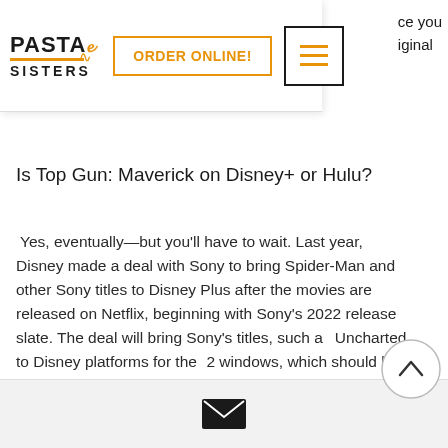[Figure (logo): Pasta Sisters logo with orange underline and swirl decoration, ORDER ONLINE! button in orange border, hamburger menu icon with orange lines]
ce you
riginal
Is Top Gun: Maverick on Disney+ or Hulu?
Yes, eventually—but you'll have to wait. Last year, Disney made a deal with Sony to bring Spider-Man and other Sony titles to Disney Plus after the movies are released on Netflix, beginning with Sony's 2022 release slate. The deal will bring Sony's titles, such as Uncharted, to Disney platforms for the 2 windows, which should be a little over 18 months after the movie opens in theaters.
[Figure (illustration): Scroll to top arrow button (circle with upward chevron)]
[Figure (illustration): Email envelope icon on light grey background strip at bottom]